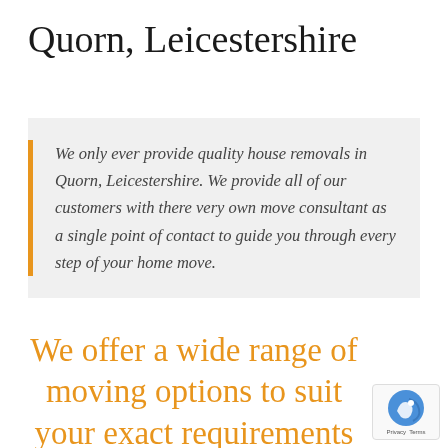Quorn, Leicestershire
We only ever provide quality house removals in Quorn, Leicestershire. We provide all of our customers with there very own move consultant as a single point of contact to guide you through every step of your home move.
We offer a wide range of moving options to suit your exact requirements some of